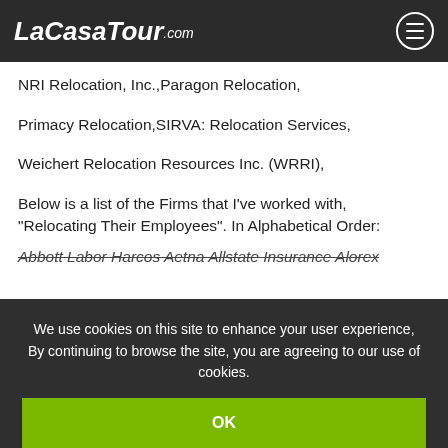LaCasaTour.com
NRI Relocation, Inc.,Paragon Relocation,
Primacy Relocation,SIRVA: Relocation Services,
Weichert Relocation Resources Inc. (WRRI),
Below is a list of the Firms that I've worked with, “Relocating Their Employees”. In Alphabetical Order:
Abbott Labor Harcos Aetna Allstate Insurance Alorex
We use cookies on this site to enhance your user experience, By continuing to browse the site, you are agreeing to our use of cookies.
OK
Cardinal Health Care,Caremark,CDW,